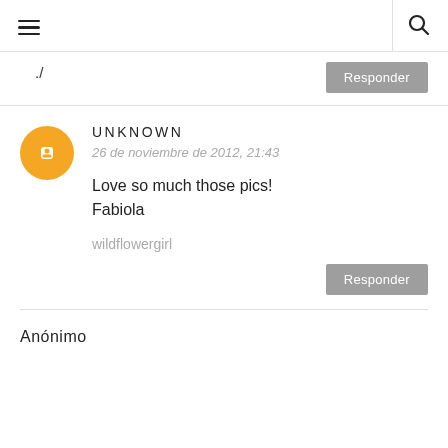☰  🔍
.)
Responder
UNKNOWN
26 de noviembre de 2012, 21:43
Love so much those pics!
Fabiola
wildflowergirl
Responder
Anónimo